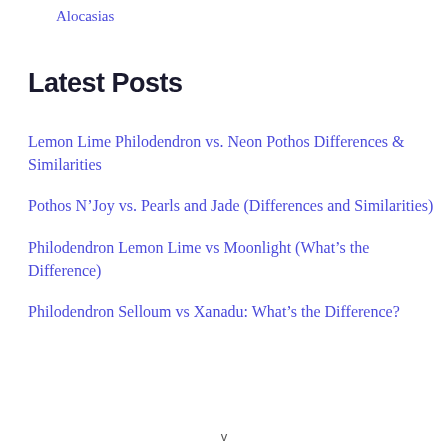Alocasias
Latest Posts
Lemon Lime Philodendron vs. Neon Pothos Differences & Similarities
Pothos N'Joy vs. Pearls and Jade (Differences and Similarities)
Philodendron Lemon Lime vs Moonlight (What's the Difference)
Philodendron Selloum vs Xanadu: What's the Difference?
v